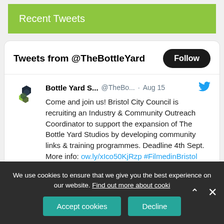Recent Tweets
Tweets from @TheBottleYard
Bottle Yard S... @TheBo... · Aug 15
Come and join us! Bristol City Council is recruiting an Industry & Community Outreach Coordinator to support the expansion of The Bottle Yard Studios by developing community links & training programmes. Deadline 4th Sept. More info: ow.ly/xIco50KjRzp #FilmedinBristol #Jobs
We use cookies to ensure that we give you the best experience on our website. Find out more about cooki